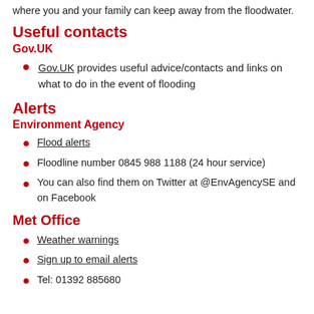where you and your family can keep away from the floodwater.
Useful contacts
Gov.UK
Gov.UK provides useful advice/contacts and links on what to do in the event of flooding
Alerts
Environment Agency
Flood alerts
Floodline number 0845 988 1188 (24 hour service)
You can also find them on Twitter at @EnvAgencySE and on Facebook
Met Office
Weather warnings
Sign up to email alerts
Tel: 01392 885680